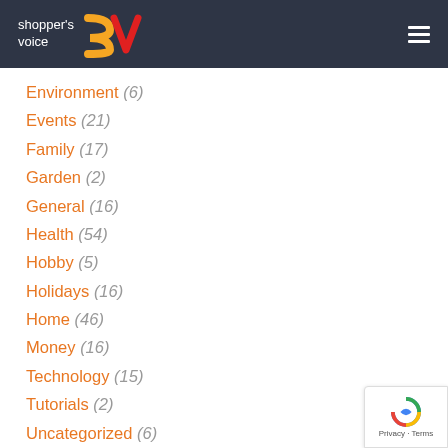shopper's voice
Environment (6)
Events (21)
Family (17)
Garden (2)
General (16)
Health (54)
Hobby (5)
Holidays (16)
Home (46)
Money (16)
Technology (15)
Tutorials (2)
Uncategorized (6)